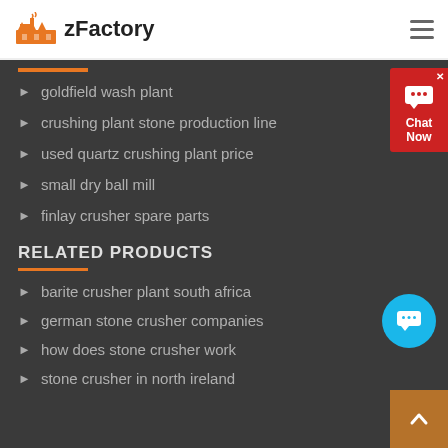zFactory
goldfield wash plant
crushing plant stone production line
used quartz crushing plant price
small dry ball mill
finlay crusher spare parts
RELATED PRODUCTS
barite crusher plant south africa
german stone crusher companies
how does stone crusher work
stone crusher in north ireland